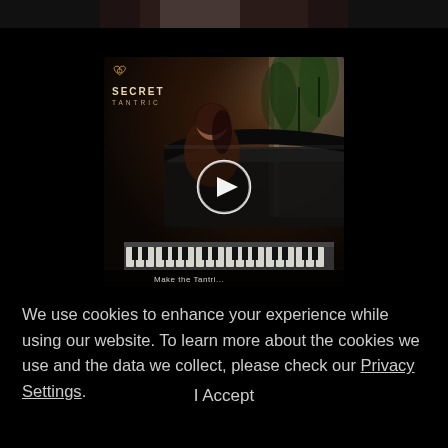[Figure (photo): Partial top image cropped at the top of the page, dark background]
[Figure (screenshot): Secret Tantric branded video thumbnail showing a woman near a grand piano. Logo with heart icon and 'SECRET TANTRIC' text in top-left. Play button overlay in center. Bottom shows partial text caption cut off.]
We use cookies to enhance your experience while using our website. To learn more about the cookies we use and the data we collect, please check our Privacy Settings.
I Accept